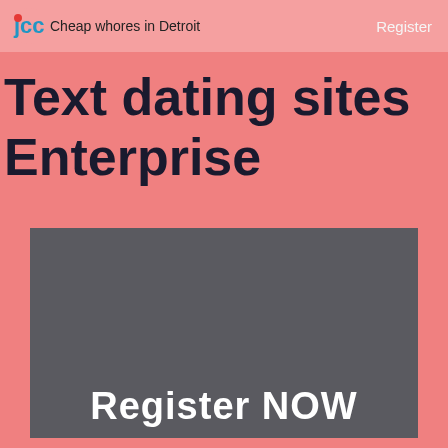Cheap whores in Detroit   Register
Text dating sites Enterprise
[Figure (other): Dark gray promotional banner with 'Register NOW' text at the bottom in white bold letters]